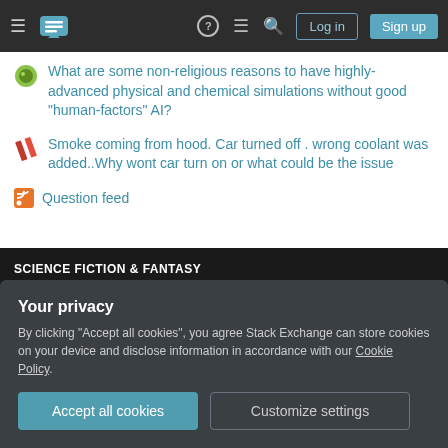Stack Exchange navigation bar with Log in and Sign up buttons
What are some non-religious reasons to have highly-advanced physical and chemical simulations without good "human-factors" AI?
Smoke coming from hood. Car turned off . wrong coolant was added..Why wont car turn on or what could be the issue
Question feed
SCIENCE FICTION & FANTASY
Tour  Help  Chat  Contact  Feedback
COMPANY
Your privacy
By clicking "Accept all cookies", you agree Stack Exchange can store cookies on your device and disclose information in accordance with our Cookie Policy.
Accept all cookies  Customize settings